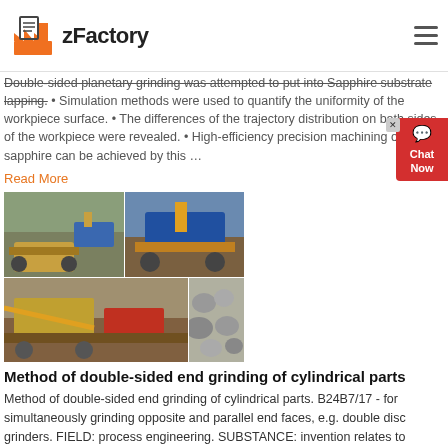zFactory
Double-sided planetary grinding was attempted to put into Sapphire substrate lapping. • Simulation methods were used to quantify the uniformity of the workpiece surface. • The differences of the trajectory distribution on both sides of the workpiece were revealed. • High-efficiency precision machining of sapphire can be achieved by this ...
Read More
[Figure (photo): Four photos of industrial crushing and grinding machinery including excavators, rock crushers, and stone processing equipment.]
Method of double-sided end grinding of cylindrical parts
Method of double-sided end grinding of cylindrical parts. B24B7/17 - for simultaneously grinding opposite and parallel end faces, e.g. double disc grinders. FIELD: process engineering. SUBSTANCE: invention relates to machine building and may be used in grinding ends of cylindrical parts, for example, rolling bearing racers. Cylindrical parts ...